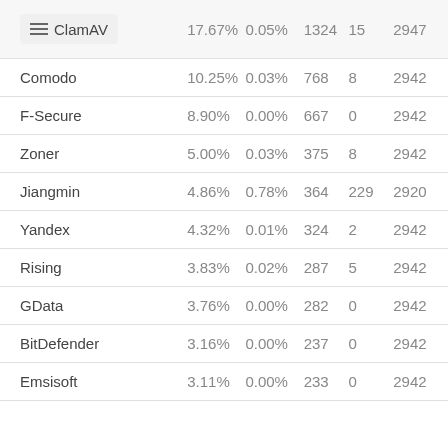|  |  |  |  |  |  |
| --- | --- | --- | --- | --- | --- |
| ClamAV | 17.67% | 0.05% | 1324 | 15 | 2947 |
| Comodo | 10.25% | 0.03% | 768 | 8 | 2942 |
| F-Secure | 8.90% | 0.00% | 667 | 0 | 2942 |
| Zoner | 5.00% | 0.03% | 375 | 8 | 2942 |
| Jiangmin | 4.86% | 0.78% | 364 | 229 | 2920 |
| Yandex | 4.32% | 0.01% | 324 | 2 | 2942 |
| Rising | 3.83% | 0.02% | 287 | 5 | 2942 |
| GData | 3.76% | 0.00% | 282 | 0 | 2942 |
| BitDefender | 3.16% | 0.00% | 237 | 0 | 2942 |
| Emsisoft | 3.11% | 0.00% | 233 | 0 | 2942 |